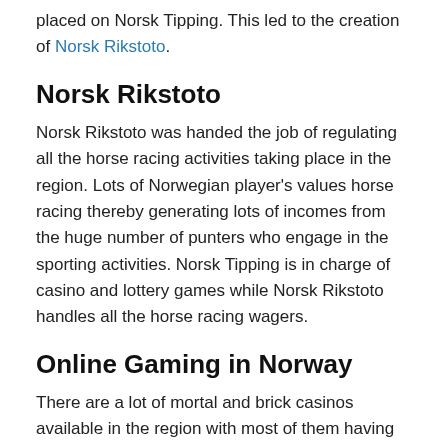placed on Norsk Tipping. This led to the creation of Norsk Rikstoto.
Norsk Rikstoto
Norsk Rikstoto was handed the job of regulating all the horse racing activities taking place in the region. Lots of Norwegian player's values horse racing thereby generating lots of incomes from the huge number of punters who engage in the sporting activities. Norsk Tipping is in charge of casino and lottery games while Norsk Rikstoto handles all the horse racing wagers.
Online Gaming in Norway
There are a lot of mortal and brick casinos available in the region with most of them having online platforms for players to patronise from the comfort of their home. Foreign casinos and sports book are strictly restricted in